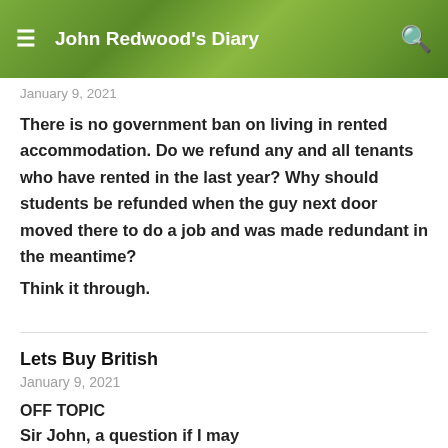John Redwood's Diary
January 9, 2021
There is no government ban on living in rented accommodation. Do we refund any and all tenants who have rented in the last year? Why should students be refunded when the guy next door moved there to do a job and was made redundant in the meantime?
Think it through.
Lets Buy British
January 9, 2021
OFF TOPIC
Sir John, a question if I may